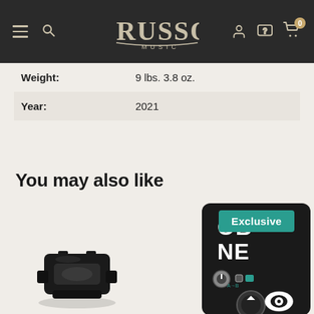Russo Music
| Weight: | 9 lbs. 3.8 oz. |
| Year: | 2021 |
You may also like
[Figure (photo): Black guitar strap lock or end pin jack accessory component]
[Figure (photo): Guitar effects pedal with Exclusive badge, partially cropped, showing knobs and brand text OB NE]